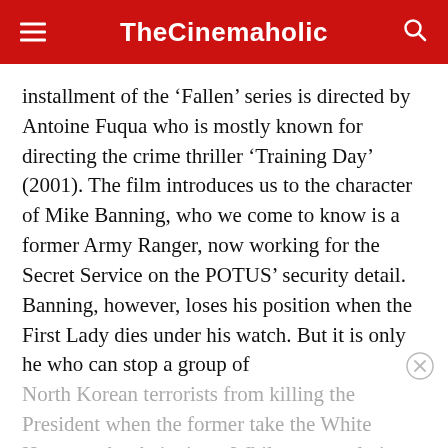TheCinemaholic
installment of the ‘Fallen’ series is directed by Antoine Fuqua who is mostly known for directing the crime thriller ‘Training Day’ (2001). The film introduces us to the character of Mike Banning, who we come to know is a former Army Ranger, now working for the Secret Service on the POTUS’ security detail. Banning, however, loses his position when the First Lady dies under his watch. But it is only he who can stop a group of
North Korean terrorists from killing the President when the former take the White House under their siege. While constantly in contact with the Acting President Allen